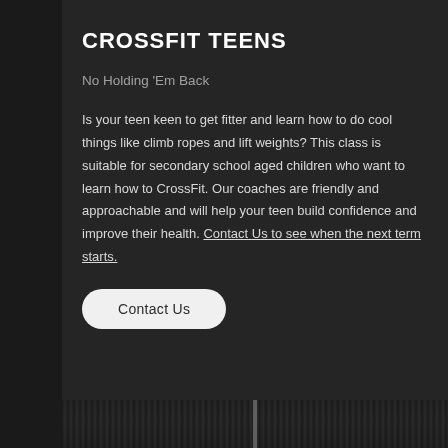CROSSFIT TEENS
No Holding 'Em Back
Is your teen keen to get fitter and learn how to do cool things like climb ropes and lift weights? This class is suitable for secondary school aged children who want to learn how to CrossFit. Our coaches are friendly and approachable and will help your teen build confidence and improve their health. Contact Us to see when the next term starts.
Contact Us